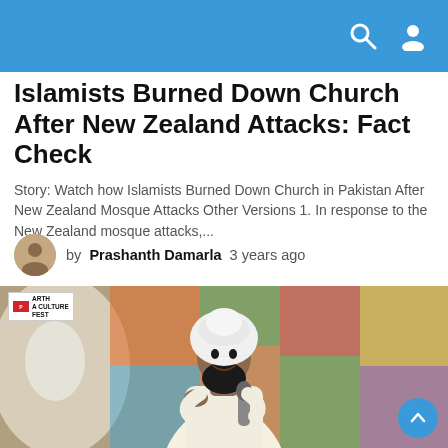Islamists Burned Down Church After New Zealand Attacks: Fact Check
Story: Watch how Islamists Burned Down Church in Pakistan After New Zealand Mosque Attacks Other Versions 1. In response to the New Zealand mosque attacks,...
by Prashanth Damarla 3 years ago
[Figure (photo): A man in white Islamic clerical attire including a white turban, holding a microphone and speaking at what appears to be a cultural festival called ARTH A CULTURE FEST, visible as a watermark in the top-left of the image. The background features colorful abstract artwork.]